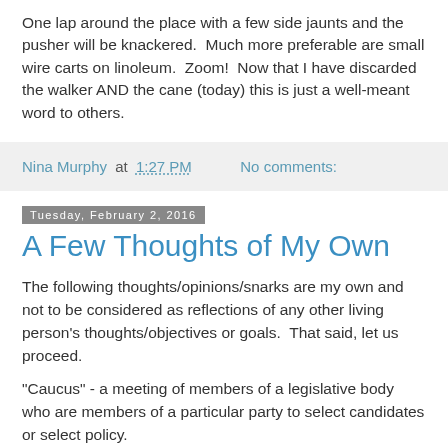One lap around the place with a few side jaunts and the pusher will be knackered.  Much more preferable are small wire carts on linoleum.  Zoom!  Now that I have discarded the walker AND the cane (today) this is just a well-meant word to others.
Nina Murphy at 1:27 PM   No comments:
Tuesday, February 2, 2016
A Few Thoughts of My Own
The following thoughts/opinions/snarks are my own and not to be considered as reflections of any other living person's thoughts/objectives or goals.  That said, let us proceed.
"Caucus" - a meeting of members of a legislative body who are members of a particular party to select candidates or select policy.
A ...